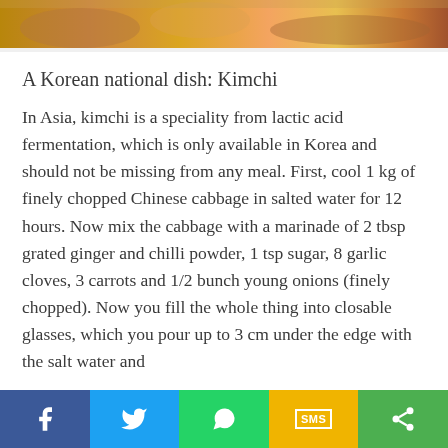[Figure (photo): Partial view of a Korean food dish, likely kimchi or sushi arrangement, cropped at top of page]
A Korean national dish: Kimchi
In Asia, kimchi is a speciality from lactic acid fermentation, which is only available in Korea and should not be missing from any meal. First, cool 1 kg of finely chopped Chinese cabbage in salted water for 12 hours. Now mix the cabbage with a marinade of 2 tbsp grated ginger and chilli powder, 1 tsp sugar, 8 garlic cloves, 3 carrots and 1/2 bunch young onions (finely chopped). Now you fill the whole thing into closable glasses, which you pour up to 3 cm under the edge with the salt water and
f [Facebook] [Twitter] [WhatsApp] SMS [Share]